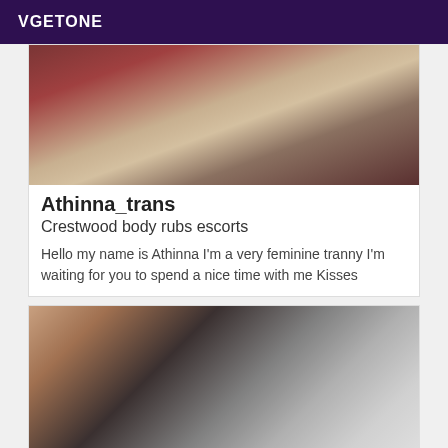VGETONE
[Figure (photo): Close-up photo showing fabric and clothing in dark red/maroon and floral pattern]
Athinna_trans
Crestwood body rubs escorts
Hello my name is Athinna I'm a very feminine tranny I'm waiting for you to spend a nice time with me Kisses
[Figure (photo): Person taking a selfie in a mirror, dark hair, holding a phone]